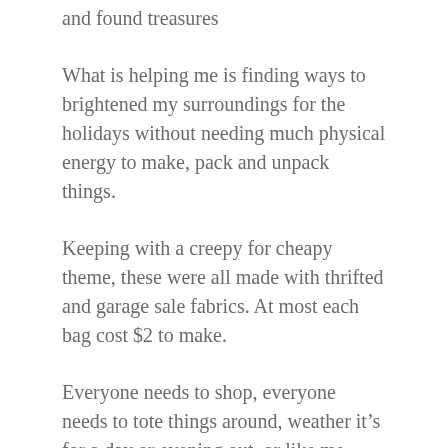and found treasures
What is helping me is finding ways to brightened my surroundings for the holidays without needing much physical energy to make, pack and unpack things.
Keeping with a creepy for cheapy theme, these were all made with thrifted and garage sale fabrics. At most each bag cost $2 to make.
Everyone needs to shop, everyone needs to tote things around, weather it's for a day or evening out, or like me , work in progress crochet projects.
Fabric bags have become a necessity in our day and age, our country is doing away with most